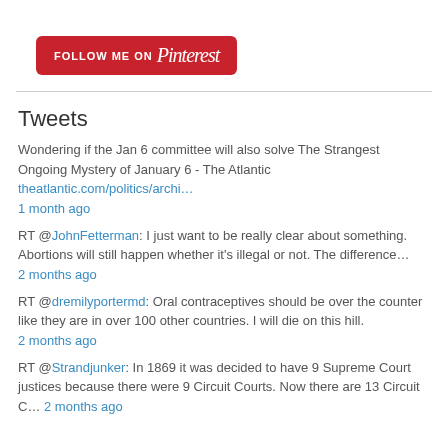[Figure (logo): Follow me on Pinterest button - red rounded rectangle with white text]
Tweets
Wondering if the Jan 6 committee will also solve The Strangest Ongoing Mystery of January 6 - The Atlantic theatlantic.com/politics/archi…
1 month ago
RT @JohnFetterman: I just want to be really clear about something. Abortions will still happen whether it's illegal or not. The difference…
2 months ago
RT @dremilyportermd: Oral contraceptives should be over the counter like they are in over 100 other countries. I will die on this hill.
2 months ago
RT @Strandjunker: In 1869 it was decided to have 9 Supreme Court justices because there were 9 Circuit Courts. Now there are 13 Circuit C… 2 months ago